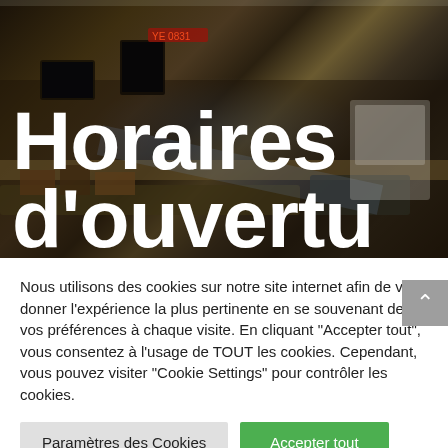[Figure (photo): Dark background photo of what appears to be a store or supermarket checkout/service area with equipment and shelving, overlaid with large white bold text reading 'Horaires d'ouvertu' (partial, text continues below visible area)]
Horaires d'ouvertu
Nous utilisons des cookies sur notre site internet afin de vous donner l'expérience la plus pertinente en se souvenant de vos préférences à chaque visite. En cliquant "Accepter tout", vous consentez à l'usage de TOUT les cookies. Cependant, vous pouvez visiter "Cookie Settings" pour contrôler les cookies.